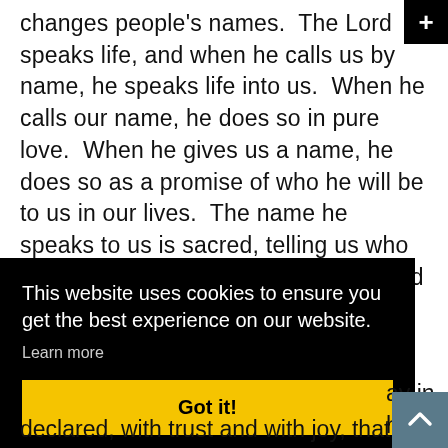changes people's names.  The Lord speaks life, and when he calls us by name, he speaks life into us.  When he calls our name, he does so in pure love.  When he gives us a name, he does so as a promise of who he will be to us in our lives.  The name he speaks to us is sacred, telling us who we are to him and who he is to us. And he delights in calling it!
This website uses cookies to ensure you get the best experience on our website. Learn more
Got it!
declared, with trust and with joy, that this boy would